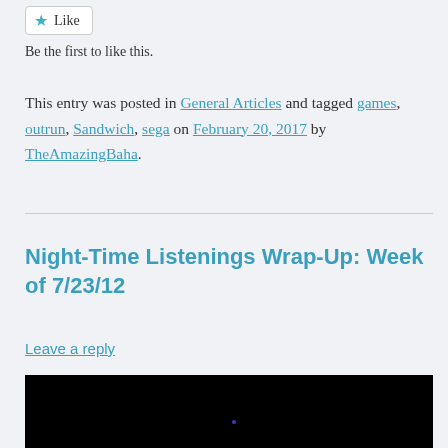Like
Be the first to like this.
This entry was posted in General Articles and tagged games, outrun, Sandwich, sega on February 20, 2017 by TheAmazingBaha.
Night-Time Listenings Wrap-Up: Week of 7/23/12
Leave a reply
[Figure (screenshot): Black video thumbnail with a faint blue dot near bottom center]